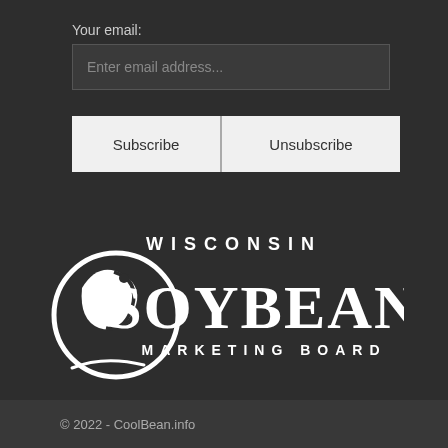Your email:
Enter email address...
Subscribe
Unsubscribe
[Figure (logo): Wisconsin Soybean Marketing Board logo — white text and circular soybean icon on dark background]
© 2022 - CoolBean.info